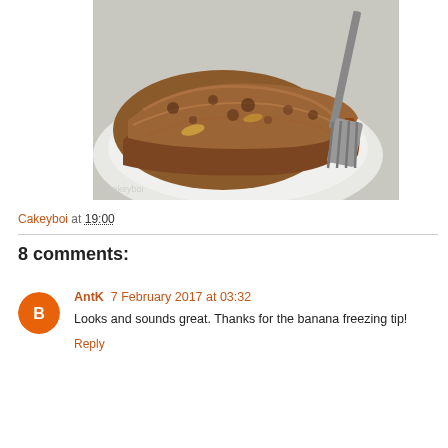[Figure (photo): A slice of banana bread or meatloaf on a white plate with a fork beside it, close-up food photography]
Cakeyboi at 19:00
8 comments:
AntK  7 February 2017 at 03:32
Looks and sounds great. Thanks for the banana freezing tip!
Reply